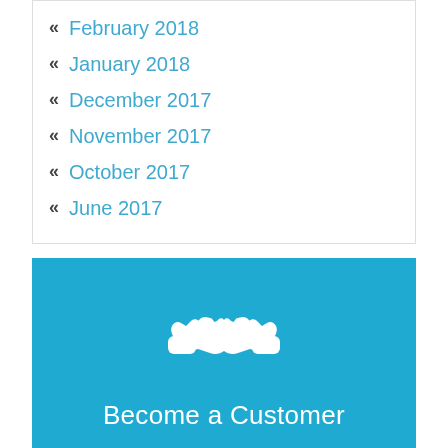« February 2018
« January 2018
« December 2017
« November 2017
« October 2017
« June 2017
[Figure (illustration): White handshake icon on blue background with text 'Become a Customer']